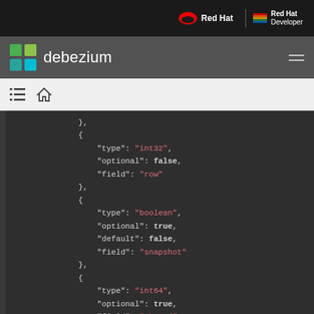Red Hat | Red Hat Developer
debezium
[Figure (screenshot): Breadcrumb navigation bar with list icon and home icon]
JSON code block showing schema fields: type int32 optional false field row; type boolean optional true default false field snapshot; type int64 optional true field thread